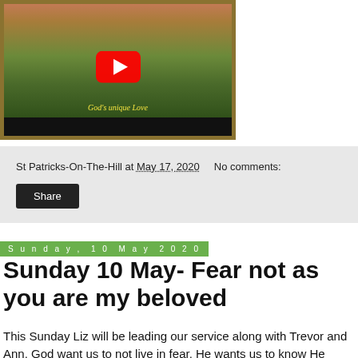[Figure (screenshot): YouTube video thumbnail showing a landscape with mountains and sheep, with a red YouTube play button in the center. Text reads "God's unique Love" in yellow italic. A dark olive/gold border surrounds the thumbnail.]
St Patricks-On-The-Hill at May 17, 2020    No comments:
Share
Sunday, 10 May 2020
Sunday 10 May- Fear not as you are my beloved
This Sunday Liz will be leading our service along with Trevor and Ann. God want us to not live in fear. He wants us to know He loves us. Have a blessed Mothers day